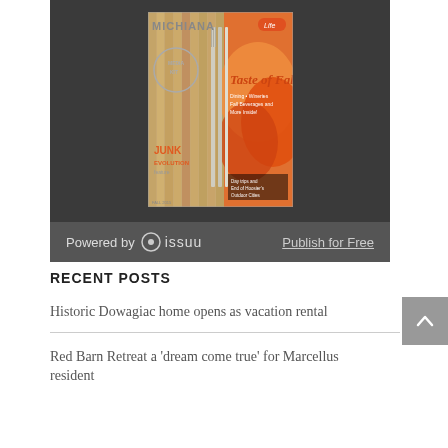[Figure (screenshot): Michiana Life magazine cover showing 'Taste of Fall' issue with forks, autumn leaves, and JUNK text, displayed in an Issuu embed player with dark background and 'Powered by issuu' bar and 'Publish for Free' link]
RECENT POSTS
Historic Dowagiac home opens as vacation rental
Red Barn Retreat a 'dream come true' for Marcellus resident